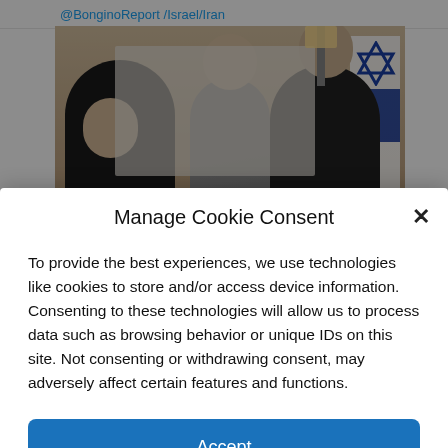@BonginoReport /Israel/Iran
[Figure (photo): Three men seated around a wooden table in what appears to be an official meeting room. A man in a dark suit on the left, a military officer in the center, and a man in a dark suit on the right. An Israeli flag is partially visible on the right side.]
Manage Cookie Consent
To provide the best experiences, we use technologies like cookies to store and/or access device information. Consenting to these technologies will allow us to process data such as browsing behavior or unique IDs on this site. Not consenting or withdrawing consent, may adversely affect certain features and functions.
Accept
English
kie Policy